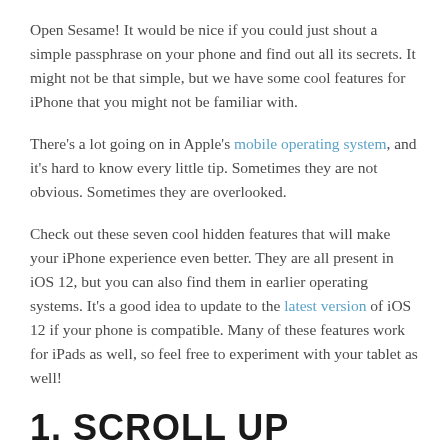Open Sesame! It would be nice if you could just shout a simple passphrase on your phone and find out all its secrets. It might not be that simple, but we have some cool features for iPhone that you might not be familiar with.
There's a lot going on in Apple's mobile operating system, and it's hard to know every little tip. Sometimes they are not obvious. Sometimes they are overlooked.
Check out these seven cool hidden features that will make your iPhone experience even better. They are all present in iOS 12, but you can also find them in earlier operating systems. It's a good idea to update to the latest version of iOS 12 if your phone is compatible. Many of these features work for iPads as well, so feel free to experiment with your tablet as well!
1. SCROLL UP